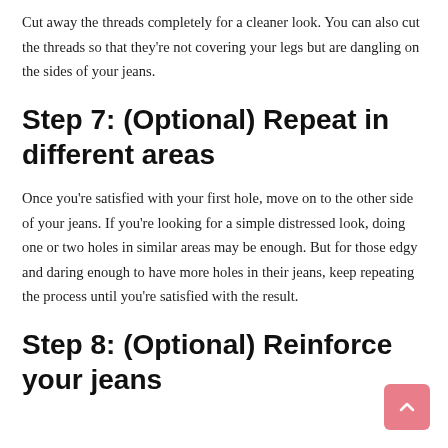Cut away the threads completely for a cleaner look. You can also cut the threads so that they're not covering your legs but are dangling on the sides of your jeans.
Step 7: (Optional) Repeat in different areas
Once you're satisfied with your first hole, move on to the other side of your jeans. If you're looking for a simple distressed look, doing one or two holes in similar areas may be enough. But for those edgy and daring enough to have more holes in their jeans, keep repeating the process until you're satisfied with the result.
Step 8: (Optional) Reinforce your jeans